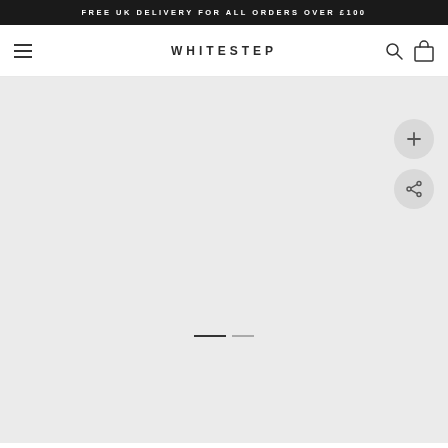FREE UK DELIVERY FOR ALL ORDERS OVER £100
WHITESTEP
[Figure (screenshot): E-commerce website screenshot showing the Whitestep online store. Top black announcement bar reads FREE UK DELIVERY FOR ALL ORDERS OVER £100. White navigation header with hamburger menu on left, WHITESTEP logo centered, search and bag icons on right. Large light gray product image area below with zoom (+) and share buttons on the right side, and two horizontal slider indicator lines (one dark, one light) near the bottom center.]